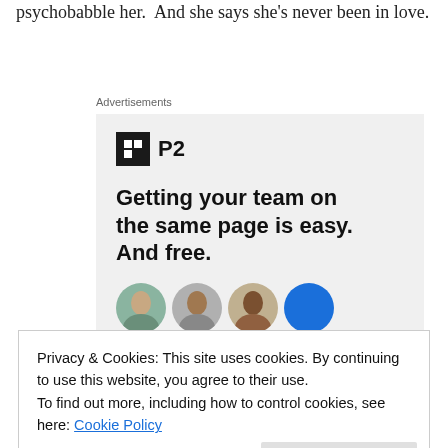psychobabble her.  And she says she's never been in love.
Advertisements
[Figure (infographic): P2 advertisement with logo, headline 'Getting your team on the same page is easy. And free.' and circular avatar photos of team members]
Privacy & Cookies: This site uses cookies. By continuing to use this website, you agree to their use.
To find out more, including how to control cookies, see here: Cookie Policy
t d ff b f th t t t b ll